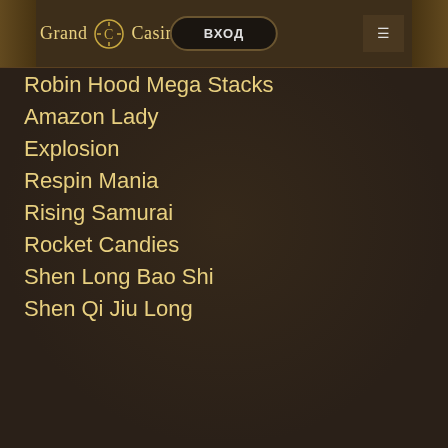Grand Casino — ВХОД
Robin Hood Mega Stacks
Amazon Lady
Explosion
Respin Mania
Rising Samurai
Rocket Candies
Shen Long Bao Shi
Shen Qi Jiu Long